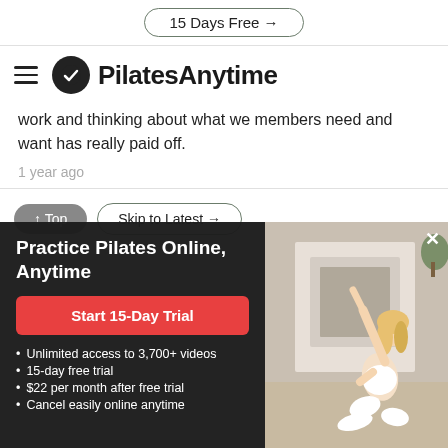15 Days Free →
PilatesAnytime
work and thinking about what we members need and want has really paid off.
1 year ago
↑ Top    Skip to Latest →
Practice Pilates Online, Anytime
Start 15-Day Trial
Unlimited access to 3,700+ videos
15-day free trial
$22 per month after free trial
Cancel easily online anytime
[Figure (photo): Woman practicing Pilates pose in white outfit in front of fireplace]